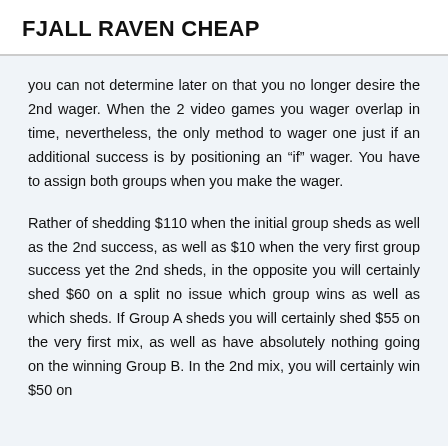FJALL RAVEN CHEAP
you can not determine later on that you no longer desire the 2nd wager. When the 2 video games you wager overlap in time, nevertheless, the only method to wager one just if an additional success is by positioning an “if” wager. You have to assign both groups when you make the wager.
Rather of shedding $110 when the initial group sheds as well as the 2nd success, as well as $10 when the very first group success yet the 2nd sheds, in the opposite you will certainly shed $60 on a split no issue which group wins as well as which sheds. If Group A sheds you will certainly shed $55 on the very first mix, as well as have absolutely nothing going on the winning Group B. In the 2nd mix, you will certainly win $50 on